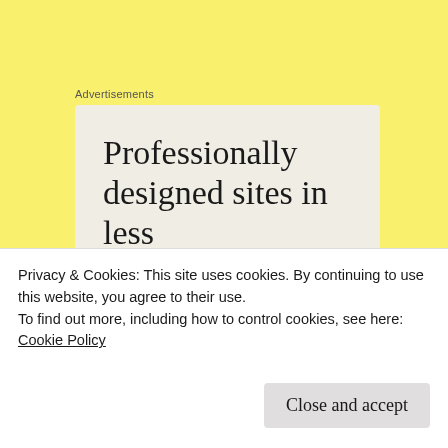Advertisements
[Figure (other): Advertisement box with text: Professionally designed sites in less than a week]
Feb 27 – Sawed out some felloes.[30] Bot paper 5¢. Uncle Jason came over. Got Mrs Wisemans machine
Privacy & Cookies: This site uses cookies. By continuing to use this website, you agree to their use.
To find out more, including how to control cookies, see here:
Cookie Policy
Close and accept
Mar 1 – Sawed felloes. Bot Book for Hannah